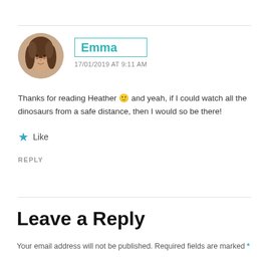[Figure (photo): Circular avatar photo of a woman with dark hair]
Emma
17/01/2019 AT 9:11 AM
Thanks for reading Heather 🙂 and yeah, if I could watch all the dinosaurs from a safe distance, then I would so be there!
★ Like
REPLY
Leave a Reply
Your email address will not be published. Required fields are marked *